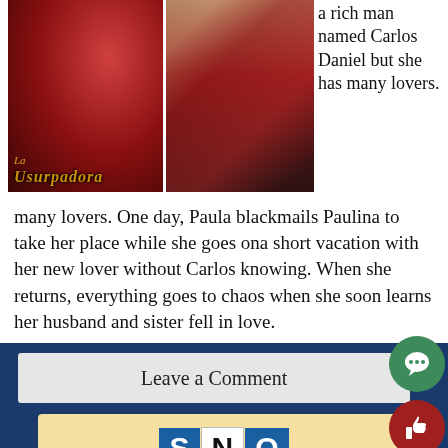[Figure (photo): Two side-by-side images: left image shows a woman in a red halter dress with the telenovela title 'La Usurpadora' overlaid in gold italic text; right image shows a woman in a red dress at what appears to be a party or event.]
a rich man named Carlos Daniel but she has many lovers. One day, Paula blackmails Paulina to take her place while she goes ona short vacation with her new lover without Carlos knowing. When she returns, everything goes to chaos when she soon learns her husband and sister fell in love.
Leave a Comment
[Figure (logo): SNO logo with blue S, white N, and blue O tiles on a light yellow background]